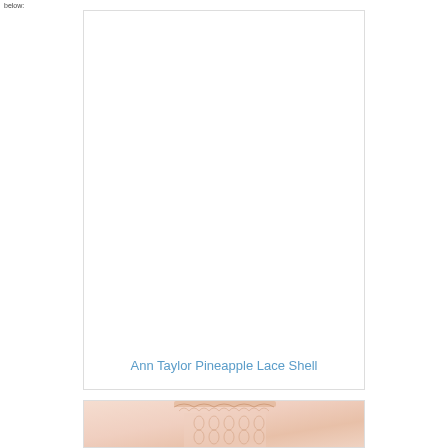below:
[Figure (photo): Product listing card with white background, showing Ann Taylor Pineapple Lace Shell product title in blue link text]
Ann Taylor Pineapple Lace Shell
[Figure (photo): Second product card showing a close-up photo of a model wearing a light pink/peach pineapple lace shell top]